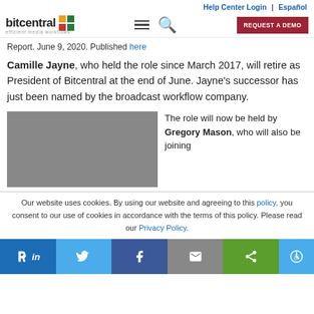Help Center Login | Español
[Figure (logo): Bitcentral logo with colored grid icons and tagline 'efficient media workflows']
Report. June 9, 2020. Published here
Camille Jayne, who held the role since March 2017, will retire as President of Bitcentral at the end of June. Jayne's successor has just been named by the broadcast workflow company.
[Figure (photo): Gray placeholder image for a photo]
The role will now be held by Gregory Mason, who will also be joining
Our website uses cookies. By using our website and agreeing to this policy, you consent to our use of cookies in accordance with the terms of this policy. Please read our Privacy Policy.
Social share bar: LinkedIn, Twitter, Facebook, Email, Share, Accessibility